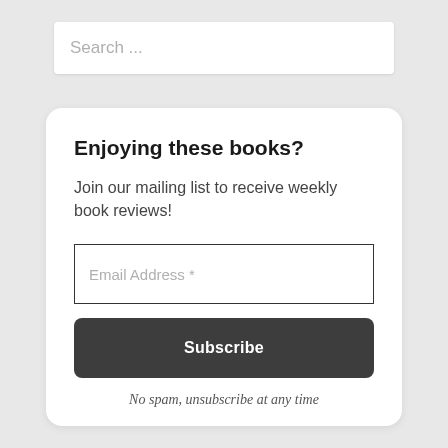Search ...
Enjoying these books?
Join our mailing list to receive weekly book reviews!
Email Address *
Subscribe
No spam, unsubscribe at any time